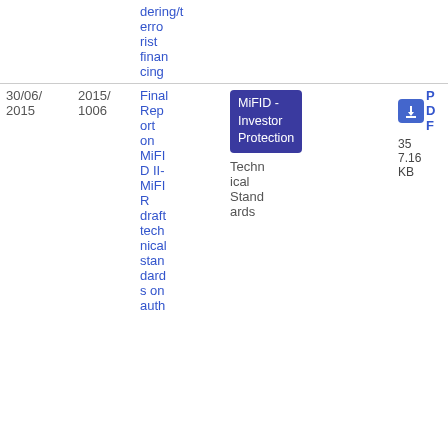| Date | Reference | Title | Topic | Type | File |
| --- | --- | --- | --- | --- | --- |
|  |  | dering/terrorist financing |  |  |  |
| 30/06/2015 | 2015/1006 | Final Report on MiFID II-MiFIR draft technical standards on auth | MiFID - Investor Protection | Technical Standards | PDF 357.16 KB |